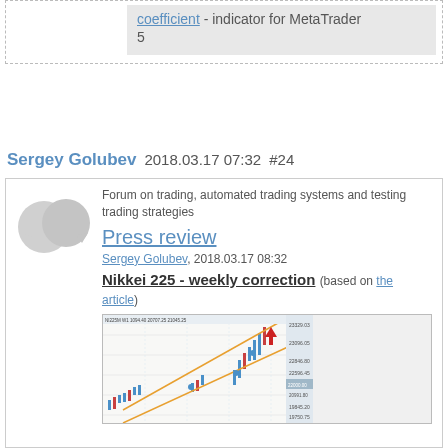coefficient - indicator for MetaTrader 5
Sergey Golubev  2018.03.17 07:32  #24
Forum on trading, automated trading systems and testing trading strategies
Press review
Sergey Golubev, 2018.03.17 08:32
Nikkei 225 - weekly correction (based on the article)
[Figure (screenshot): Nikkei 225 weekly chart screenshot from MetaTrader showing candlesticks with orange trend lines and a red down arrow indicating a correction signal around 21000-22000 level]